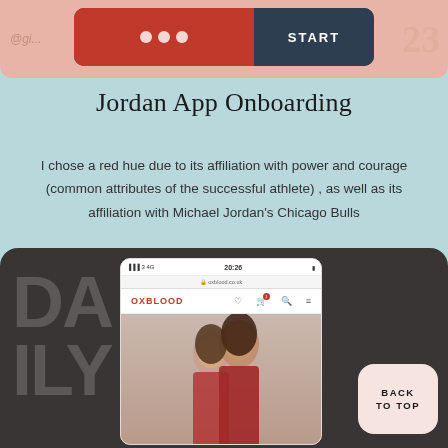[Figure (screenshot): Top portion of a phone app mockup showing a red onboarding screen with dots and a START button, with pink background and number 23]
Jordan App Onboarding
I chose a red hue due to its affiliation with power and courage (common attributes of the successful athlete) , as well as its affiliation with Michael Jordan's Chicago Bulls
[Figure (screenshot): Bottom dark card showing DAILY text in background, a phone mockup displaying the Oxblood website with two female models, and a BACK TO TOP button]